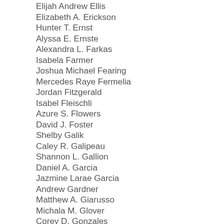Elijah Andrew Ellis
Elizabeth A. Erickson
Hunter T. Ernst
Alyssa E. Ernste
Alexandra L. Farkas
Isabela Farmer
Joshua Michael Fearing
Mercedes Raye Fermelia
Jordan Fitzgerald
Isabel Fleischli
Azure S. Flowers
David J. Foster
Shelby Galik
Caley R. Galipeau
Shannon L. Gallion
Daniel A. Garcia
Jazmine Larae Garcia
Andrew Gardner
Matthew A. Giarusso
Michala M. Glover
Corey D. Gonzales
Bethany Lake Good
Anthony Green
Keefe R. Groom
Hannah M. Guthrie